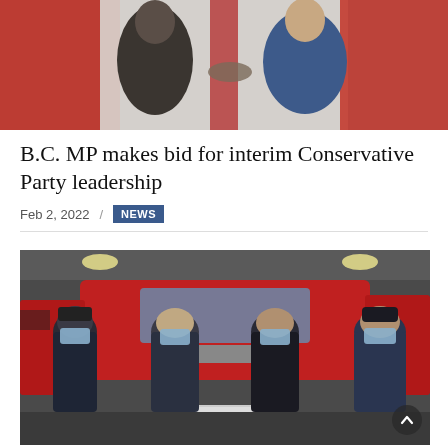[Figure (photo): Two people shaking hands in front of a red and white background, one wearing a dark coat and one in a blue blazer.]
B.C. MP makes bid for interim Conservative Party leadership
Feb 2, 2022 / NEWS
[Figure (photo): Four firefighters or emergency personnel wearing blue uniforms and face masks, standing in front of a red fire truck inside a fire station.]